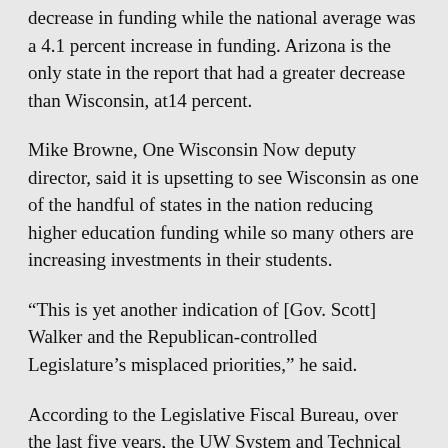decrease in funding while the national average was a 4.1 percent increase in funding. Arizona is the only state in the report that had a greater decrease than Wisconsin, at14 percent.
Mike Browne, One Wisconsin Now deputy director, said it is upsetting to see Wisconsin as one of the handful of states in the nation reducing higher education funding while so many others are increasing investments in their students.
“This is yet another indication of [Gov. Scott] Walker and the Republican-controlled Legislature’s misplaced priorities,” he said.
According to the Legislative Fiscal Bureau, over the last five years, the UW System and Technical Colleges have seen a nearly billion dollar decrease in the amount of funding they received when compared to